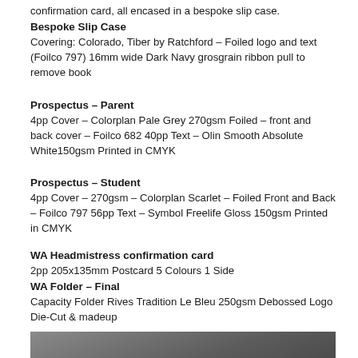confirmation card, all encased in a bespoke slip case.
Bespoke Slip Case
Covering: Colorado, Tiber by Ratchford – Foiled logo and text (Foilco 797) 16mm wide Dark Navy grosgrain ribbon pull to remove book
Prospectus – Parent
4pp Cover – Colorplan Pale Grey 270gsm Foiled – front and back cover – Foilco 682 40pp Text – Olin Smooth Absolute White150gsm Printed in CMYK
Prospectus – Student
4pp Cover – 270gsm – Colorplan Scarlet – Foiled Front and Back – Foilco 797 56pp Text – Symbol Freelife Gloss 150gsm Printed in CMYK
WA Headmistress confirmation card
2pp 205x135mm Postcard 5 Colours 1 Side
WA Folder – Final
Capacity Folder Rives Tradition Le Bleu 250gsm Debossed Logo Die-Cut & madeup
[Figure (photo): Dark grey/charcoal background image, appears to be a textured or gradient surface]